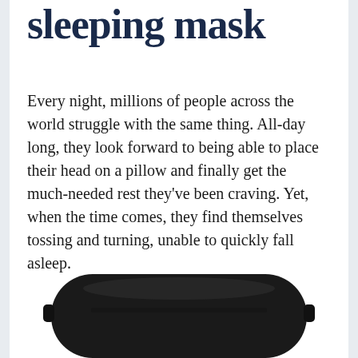sleeping mask
Every night, millions of people across the world struggle with the same thing. All-day long, they look forward to being able to place their head on a pillow and finally get the much-needed rest they've been craving. Yet, when the time comes, they find themselves tossing and turning, unable to quickly fall asleep.
[Figure (photo): A dark black sleeping/eye mask viewed from above, showing its rounded rectangular shape with a smooth matte surface.]